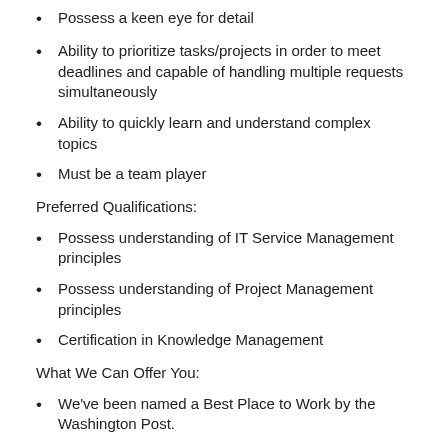Possess a keen eye for detail
Ability to prioritize tasks/projects in order to meet deadlines and capable of handling multiple requests simultaneously
Ability to quickly learn and understand complex topics
Must be a team player
Preferred Qualifications:
Possess understanding of IT Service Management principles
Possess understanding of Project Management principles
Certification in Knowledge Management
What We Can Offer You:
We've been named a Best Place to Work by the Washington Post.
We use cookies to improve your experience on our site. To find out more, read our privacy policy.
Accept